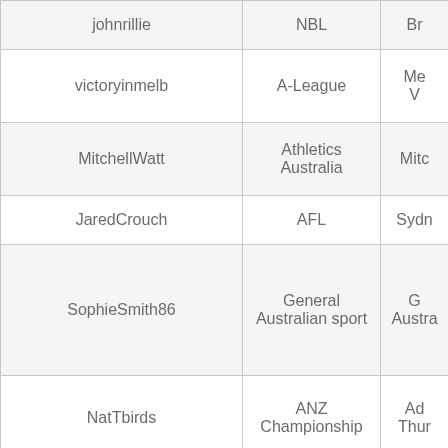| Username | Sport/League | Team/Org |
| --- | --- | --- |
| johnrillie | NBL | Br… |
| victoryinmelb | A-League | Me… V… |
| MitchellWatt | Athletics Australia | Mitc… |
| JaredCrouch | AFL | Sydn… |
| SophieSmith86 | General Australian sport | G… Austra… |
| NatTbirds | ANZ Championship | Ad… Thur… |
| brisbaneroar | A-League | Brisb… |
| newcastle_jets | A-League | Newc… |
| adelaideunited | A-League | Adela… |
| RTTF_AU | AFL | Sydn… |
|  | Cycli… |  |